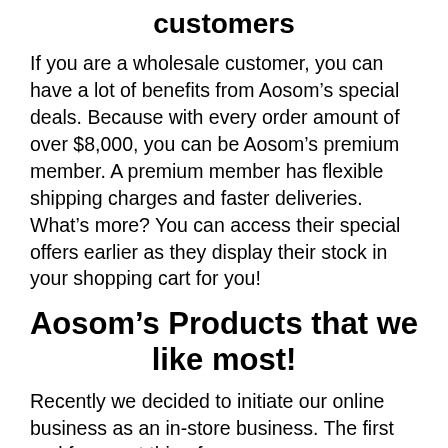customers
If you are a wholesale customer, you can have a lot of benefits from Aosom’s special deals. Because with every order amount of over $8,000, you can be Aosom’s premium member. A premium member has flexible shipping charges and faster deliveries. What’s more? You can access their special offers earlier as they display their stock in your shopping cart for you!
Aosom’s Products that we like most!
Recently we decided to initiate our online business as an in-store business. The first and foremost thing for